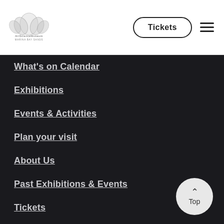[Figure (logo): ArtScience Museum Marina Bay Sands logo — stylized lotus/building graphic with text below]
Tickets
What's on Calendar
Exhibitions
Events & Activities
Plan your visit
About Us
Past Exhibitions & Events
Tickets
ArtScience Friends
Venue Rental
Sign up for newsletter